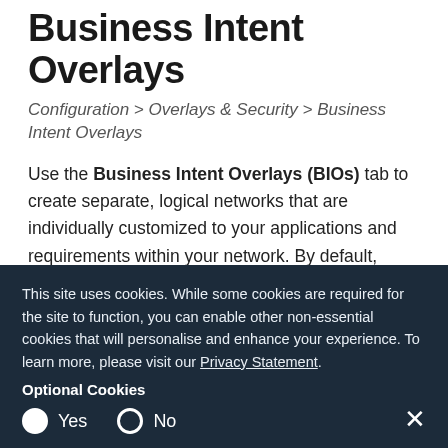Business Intent Overlays
Configuration > Overlays & Security > Business Intent Overlays
Use the Business Intent Overlays (BIOs) tab to create separate, logical networks that are individually customized to your applications and requirements within your network. By default, there are several predefined overlays matching a range of traffic within your network.
The overlay summary table is used for easy comparison of values between your various configured overlays. You can select any link in the table and the Overlay Configuration dialog box launches. You can also temporarily save your changes before officially applying
This site uses cookies. While some cookies are required for the site to function, you can enable other non-essential cookies that will personalise and enhance your experience. To learn more, please visit our Privacy Statement.
Optional Cookies
Yes  No